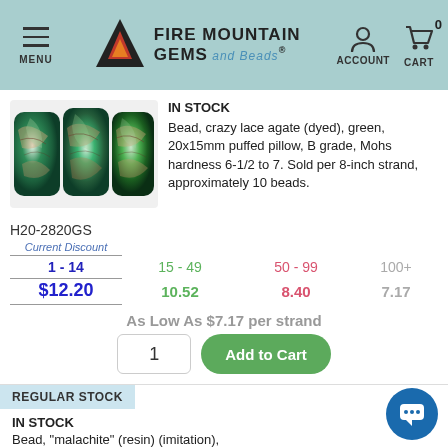MENU | FIRE MOUNTAIN GEMS and Beads | ACCOUNT | CART 0
IN STOCK
[Figure (photo): Three green crazy lace agate puffed pillow beads shown side by side]
Bead, crazy lace agate (dyed), green, 20x15mm puffed pillow, B grade, Mohs hardness 6-1/2 to 7. Sold per 8-inch strand, approximately 10 beads.
H20-2820GS
| Current Discount | 15 - 49 | 50 - 99 | 100+ |
| --- | --- | --- | --- |
| 1 - 14 | 15 - 49 | 50 - 99 | 100+ |
| $12.20 | 10.52 | 8.40 | 7.17 |
As Low As $7.17 per strand
1
Add to Cart
REGULAR STOCK
IN STOCK
Bead, "malachite" (resin) (imitation),